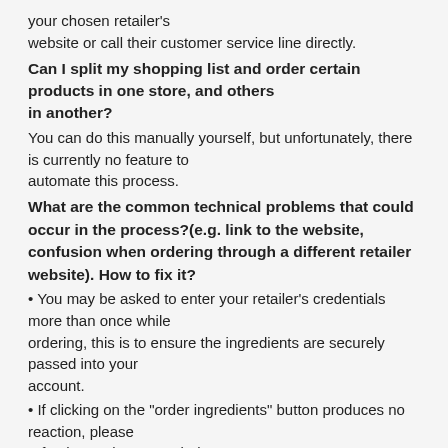your chosen retailer's website or call their customer service line directly.
Can I split my shopping list and order certain products in one store, and others in another?
You can do this manually yourself, but unfortunately, there is currently no feature to automate this process.
What are the common technical problems that could occur in the process?(e.g. link to the website, confusion when ordering through a different retailer website). How to fix it?
You may be asked to enter your retailer's credentials more than once while ordering, this is to ensure the ingredients are securely passed into your account.
If clicking on the “order ingredients” button produces no reaction, please refresh your browser window